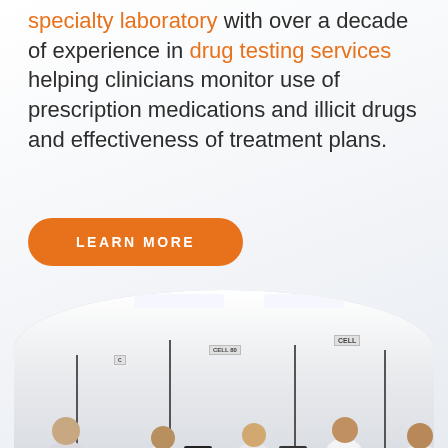specialty laboratory with over a decade of experience in drug testing services helping clinicians monitor use of prescription medications and illicit drugs and effectiveness of treatment plans.
LEARN MORE
[Figure (photo): Circular-cropped photograph of a busy specialty laboratory interior showing multiple workers in white lab coats at workstations with equipment, overhead fluorescent lighting, and signs on walls reading CELL]